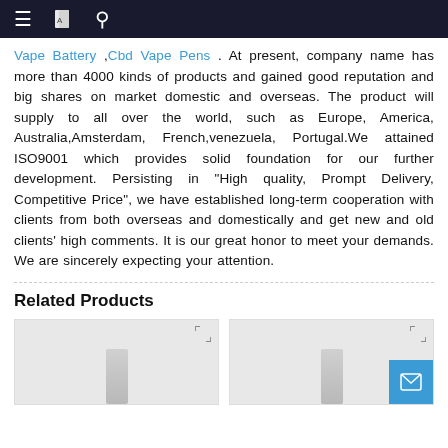Navigation bar with menu, book icon, and search icon
Vape Battery ,Cbd Vape Pens . At present, company name has more than 4000 kinds of products and gained good reputation and big shares on market domestic and overseas. The product will supply to all over the world, such as Europe, America, Australia,Amsterdam, French,venezuela, Portugal.We attained ISO9001 which provides solid foundation for our further development. Persisting in "High quality, Prompt Delivery, Competitive Price", we have established long-term cooperation with clients from both overseas and domestically and get new and old clients' high comments. It is our great honor to meet your demands. We are sincerely expecting your attention.
Related Products
[Figure (photo): Product image placeholder card 1 with expand icon]
[Figure (photo): Product image placeholder card 2 with expand icon and mail button]